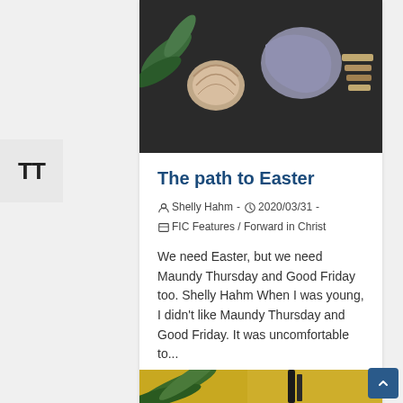[Figure (photo): Decorative photo showing plant leaves, seashells, and fabric items arranged on a surface]
The path to Easter
Shelly Hahm - 2020/03/31 - FIC Features / Forward in Christ
We need Easter, but we need Maundy Thursday and Good Friday too. Shelly Hahm When I was young, I didn't like Maundy Thursday and Good Friday. It was uncomfortable to...
Continue Reading ›
[Figure (photo): Decorative photo showing palm leaves and items on a surface]